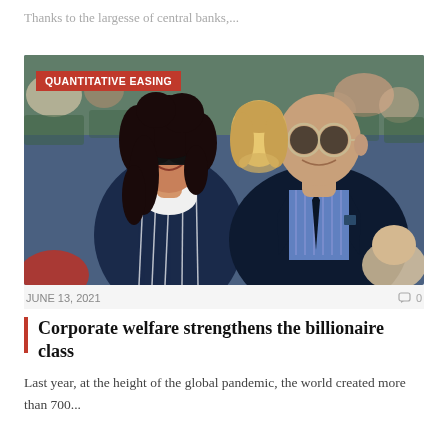Thanks to the largesse of central banks,...
[Figure (photo): Two people sitting at what appears to be a sports event. A woman with dark hair wearing large sunglasses and a blue and white striped blazer, and a bald man wearing sunglasses and a blue striped shirt with a dark suit jacket.]
QUANTITATIVE EASING
JUNE 13, 2021   0
Corporate welfare strengthens the billionaire class
Last year, at the height of the global pandemic, the world created more than 700...